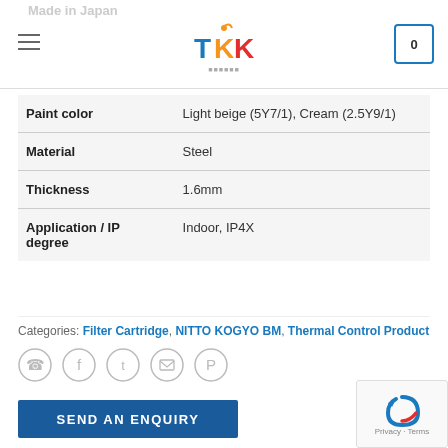Made in Japan
| Property | Value |
| --- | --- |
| Paint color | Light beige (5Y7/1), Cream (2.5Y9/1) |
| Material | Steel |
| Thickness | 1.6mm |
| Application / IP degree | Indoor, IP4X |
Categories: Filter Cartridge, NITTO KOGYO BM, Thermal Control Product
[Figure (other): Social share icons: WhatsApp, Facebook, Twitter, Email, Pinterest]
SEND AN ENQUIRY
[Figure (other): reCAPTCHA widget with Privacy and Terms links]